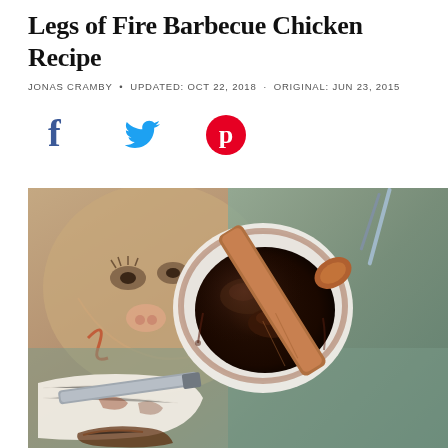Legs of Fire Barbecue Chicken Recipe
JONAS CRAMBY • UPDATED: OCT 22, 2018 · ORIGINAL: JUN 23, 2015
[Figure (illustration): Social media share icons: Facebook (f), Twitter bird, Pinterest (P)]
[Figure (photo): Overhead photo of a white bowl with dark barbecue sauce and a wooden spatula/spoon resting in it, placed on a rustic painted wooden surface with a cloth and knife visible at the bottom]